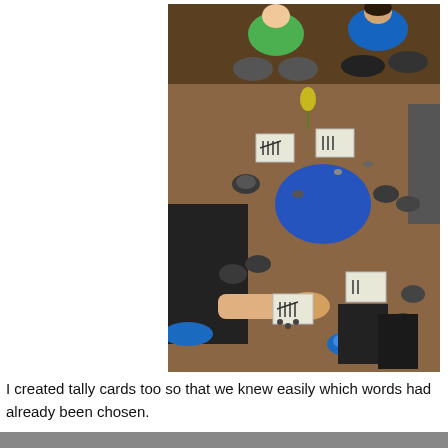[Figure (photo): Children sitting in a circle on a brown carpet floor, with small robot devices (Bee-Bots or similar) and cards with tally marks arranged between them. One child in a green hoodie and another in a blue hoodie sit at the top. A child on the left reaches toward a card. There is a large blue circle mat in the center of the group.]
I created tally cards too so that we knew easily which words had already been chosen.